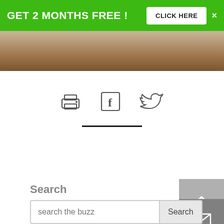GET 2 MONTHS FREE ! CLICK HERE ×
[Figure (photo): Wooden texture image strip in warm brown tones]
[Figure (infographic): Three social sharing icons: printer icon, Facebook icon, Twitter bird icon]
[Figure (other): Horizontal divider line]
[Figure (other): Scroll-to-top button (grey square with upward chevron) and mail/envelope button below it]
Search
search the buzz